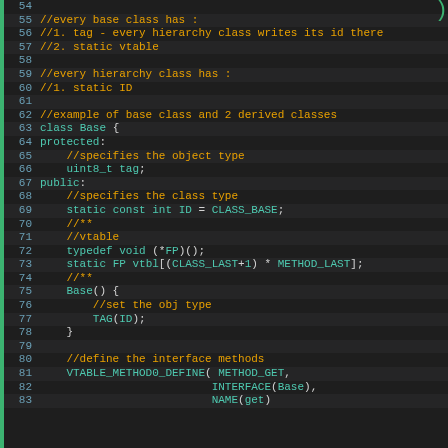[Figure (screenshot): Code editor screenshot showing C++ source code lines 54-83 with syntax highlighting. Comments in orange, keywords and types in teal/cyan, on dark background.]